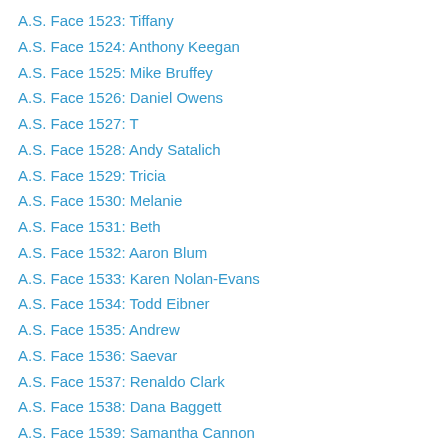A.S. Face 1523: Tiffany
A.S. Face 1524: Anthony Keegan
A.S. Face 1525: Mike Bruffey
A.S. Face 1526: Daniel Owens
A.S. Face 1527: T
A.S. Face 1528: Andy Satalich
A.S. Face 1529: Tricia
A.S. Face 1530: Melanie
A.S. Face 1531: Beth
A.S. Face 1532: Aaron Blum
A.S. Face 1533: Karen Nolan-Evans
A.S. Face 1534: Todd Eibner
A.S. Face 1535: Andrew
A.S. Face 1536: Saevar
A.S. Face 1537: Renaldo Clark
A.S. Face 1538: Dana Baggett
A.S. Face 1539: Samantha Cannon
A.S. Face 1540: Serita
A.S. Face 1541: Stuart
A.S. Face 1542: Darren McPhee